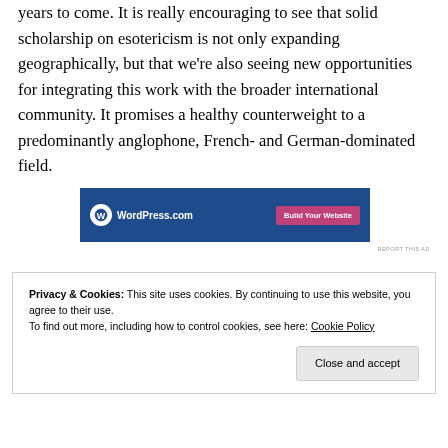years to come. It is really encouraging to see that solid scholarship on esotericism is not only expanding geographically, but that we're also seeing new opportunities for integrating this work with the broader international community. It promises a healthy counterweight to a predominantly anglophone, French- and German-dominated field.
[Figure (other): WordPress.com advertisement banner with blue background, WordPress logo and text, and a pink 'Build Your Website' button]
Privacy & Cookies: This site uses cookies. By continuing to use this website, you agree to their use.
To find out more, including how to control cookies, see here: Cookie Policy
Close and accept